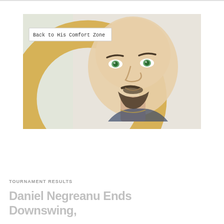[Figure (illustration): Stylized vector illustration of a man's face (Daniel Negreanu) with a beard, green eyes, and a golden circular arc behind him on a light background. A label box reading 'Back to His Comfort Zone' appears in the upper left of the image.]
Back to His Comfort Zone
TOURNAMENT RESULTS
Daniel Negreanu Ends Downswing,